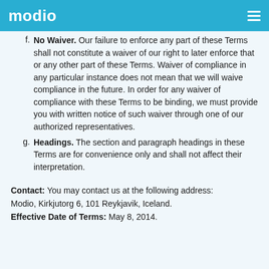modio
No Waiver. Our failure to enforce any part of these Terms shall not constitute a waiver of our right to later enforce that or any other part of these Terms. Waiver of compliance in any particular instance does not mean that we will waive compliance in the future. In order for any waiver of compliance with these Terms to be binding, we must provide you with written notice of such waiver through one of our authorized representatives.
Headings. The section and paragraph headings in these Terms are for convenience only and shall not affect their interpretation.
Contact: You may contact us at the following address:
Modio, Kirkjutorg 6, 101 Reykjavik, Iceland.
Effective Date of Terms: May 8, 2014.